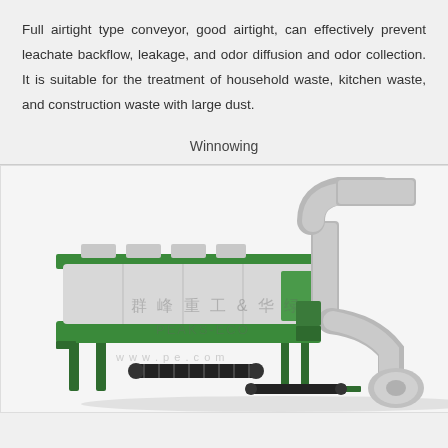Full airtight type conveyor, good airtight, can effectively prevent leachate backflow, leakage, and odor diffusion and odor collection. It is suitable for the treatment of household waste, kitchen waste, and construction waste with large dust.
Winnowing
[Figure (illustration): 3D rendering of an industrial winnowing machine with a large rectangular green and grey housing unit, a curved duct/pipe system on the right side, conveyor belts, and a blower/fan unit. Watermarks show Chinese characters and PEAKS-ECO branding with website www.pe...eco.com]